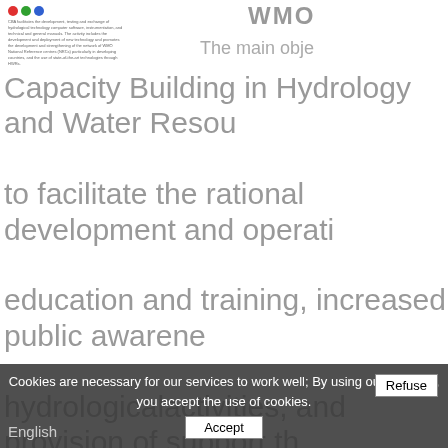[Figure (logo): WMO logo area with colored dots (red, green, blue) and small descriptive text about hydrological technology]
WMO
The main obje
Capacity Building in Hydrology and Water Resou to facilitate the rational development and operati education and training, increased public awarene hydrologicalactivities, and provision of support th activities. CBH aim, whose implementation cross HFW programmes, is to provide guidance materi implementing institutional improvements, to buil economic and social benefits of the servic ...
Cookies are necessary for our services to work well; By using our services, you accept the use of cookies.
English
Refuse
Accept